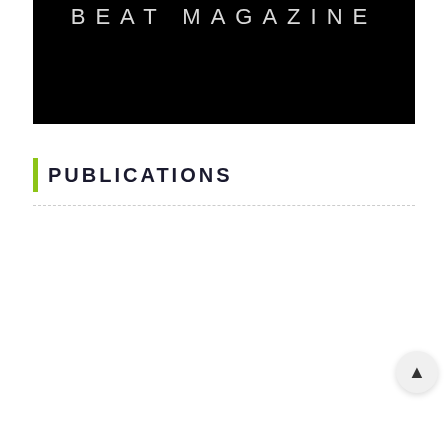[Figure (logo): Black banner with 'BEAT MAGAZINE' text in white uppercase letters on black background]
PUBLICATIONS
[Figure (other): Circular scroll-to-top button with upward arrow]